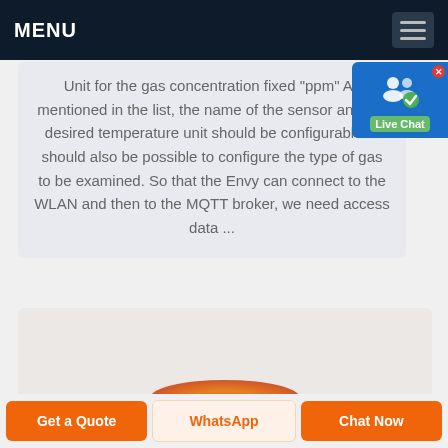MENU
Unit for the gas concentration fixed "ppm" As mentioned in the list, the name of the sensor and the desired temperature unit should be configurable. It should also be possible to configure the type of gas to be examined. So that the Envy can connect to the WLAN and then to the MQTT broker, we need access data ...
[Figure (photo): Partially visible product image with an orange/red elliptical base element visible at the bottom of the content area]
Get a Quote | WhatsApp | Chat Now